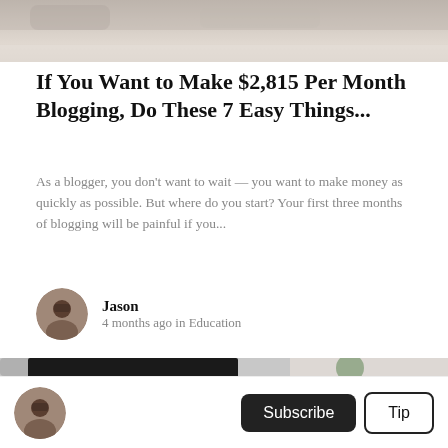[Figure (photo): Close-up photo of crumpled gray fabric/clothing at the top of the page]
If You Want to Make $2,815 Per Month Blogging, Do These 7 Easy Things...
As a blogger, you don't want to wait — you want to make money as quickly as possible. But where do you start? Your first three months of blogging will be painful if you...
Jason
4 months ago in Education
[Figure (photo): Photo of a dark computer monitor displaying 'DO MORE' text in bold white letters, with a plant and bookshelf visible in the background on the right side]